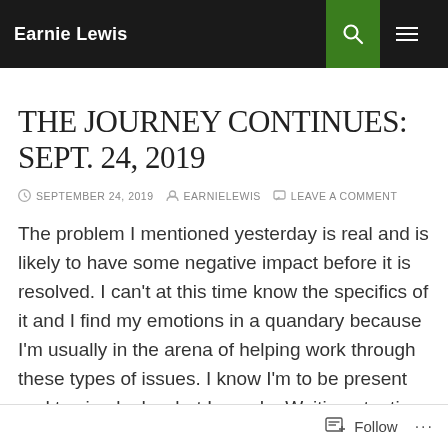Earnie Lewis
THE JOURNEY CONTINUES: SEPT. 24, 2019
SEPTEMBER 24, 2019   EARNIELEWIS   LEAVE A COMMENT
The problem I mentioned yesterday is real and is likely to have some negative impact before it is resolved. I can't at this time know the specifics of it and I find my emotions in a quandary because I'm usually in the arena of helping work through these types of issues. I know I'm to be present and to simply do what I can do. Waiting at a time like this is not easy, but I know it is right.
Follow